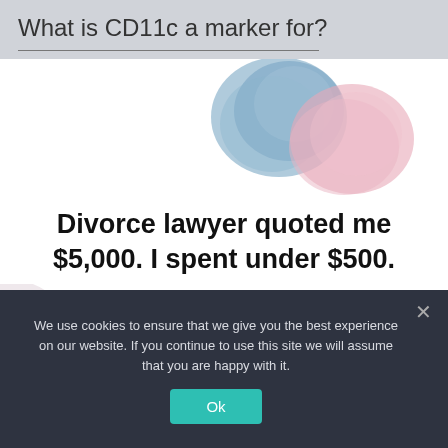What is CD11c a marker for?
[Figure (illustration): Watercolor-style illustration showing overlapping blue and pink abstract shapes, with a partial circular decorative element at bottom left and a hand visible at bottom.]
Divorce lawyer quoted me $5,000. I spent under $500.
We use cookies to ensure that we give you the best experience on our website. If you continue to use this site we will assume that you are happy with it.